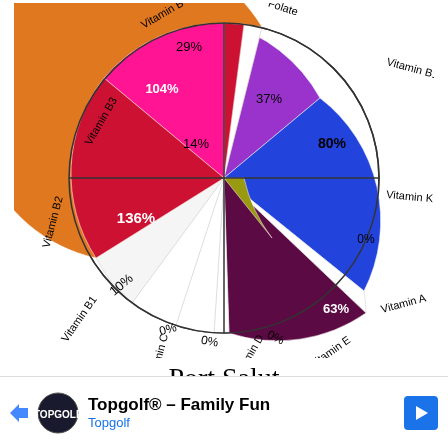[Figure (pie-chart): Port Salut Vitamins]
Port Salut
Vitamin B6   Folate